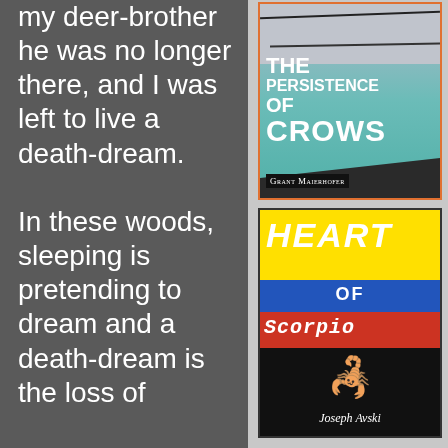looked up at my deer-brother he was no longer there, and I was left to live a death-dream.

In these woods, sleeping is pretending to dream and a death-dream is the loss of
[Figure (illustration): Book cover for 'The Persistence of Crows' by Grant Maierhofer. Features a geometric corridor with teal/gray tones, black line angles suggesting a hallway or ceiling. Title text in white bold: THE PERSISTENCE OF CROWS. Author name in small-caps black box at bottom left.]
[Figure (illustration): Book cover for 'Heart of Scorpio' by Joseph Avski. Top yellow band with 'HEART' in white italic bold. Middle blue band with 'OF' in white. Red band with 'SCORPIO' in white monospace italic. Black bottom section with illustrated scorpion and author name 'Joseph Avski' in white italic.]